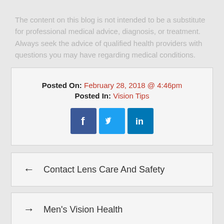The content on this blog is not intended to be a substitute for professional medical advice, diagnosis, or treatment. Always seek the advice of qualified health providers with questions you may have regarding medical conditions.
Posted On: February 28, 2018 @ 4:46pm
Posted In: Vision Tips
[Figure (infographic): Social media sharing icons: Facebook (blue square with f), Twitter (light blue square with bird icon), LinkedIn (teal square with in)]
← Contact Lens Care And Safety
→ Men's Vision Health